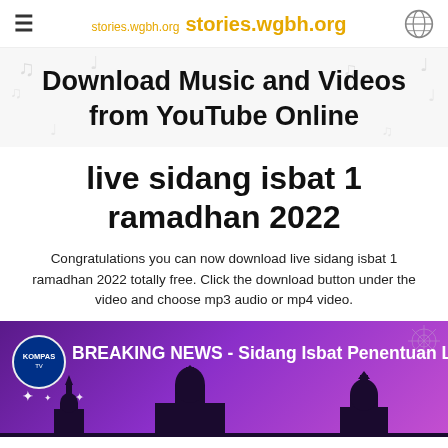stories.wgbh.org  stories.wgbh.org
Download Music and Videos from YouTube Online
live sidang isbat 1 ramadhan 2022
Congratulations you can now download live sidang isbat 1 ramadhan 2022 totally free. Click the download button under the video and choose mp3 audio or mp4 video.
[Figure (screenshot): Video thumbnail showing BREAKING NEWS - Sidang Isbat Penentuan Leb... with KompasTV logo, purple background with mosque silhouette skyline and stars]